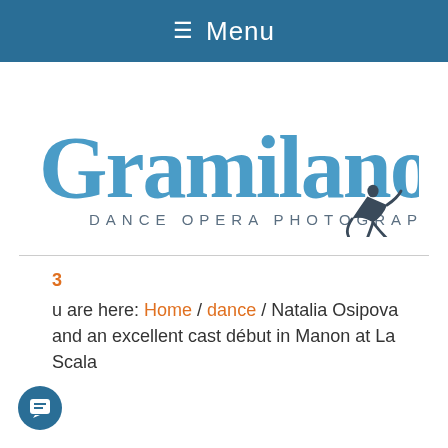≡ Menu
[Figure (logo): Gramilano logo - Dance Opera Photography, with stylized text in steel blue and a dancer silhouette]
3
You are here: Home / dance / Natalia Osipova and an excellent cast début in Manon at La Scala